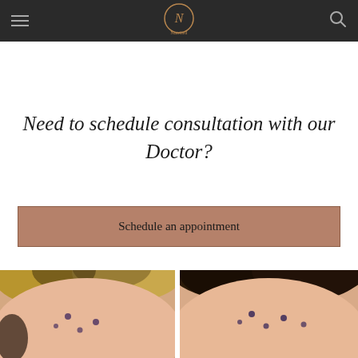NutrCell (logo with hamburger menu and search icon)
Need to schedule consultation with our Doctor?
Schedule an appointment
[Figure (photo): Close-up photo of a person's forehead with small dark marks/acne spots, blonde hair visible at top]
[Figure (photo): Close-up photo of a person's forehead/temple area with small dark marks/dots, hair visible at top]